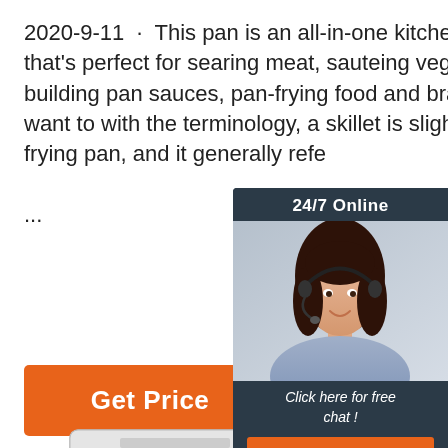2020-9-11 · This pan is an all-in-one kitchen workhorse that's perfect for searing meat, sauteing vegetables, building pan sauces, pan-frying food and braising. If we want to with the terminology, a skillet is slightly than a frying pan, and it generally refe ...
[Figure (photo): Live chat widget with photo of woman wearing headset, dark navy background, '24/7 Online' header, 'Click here for free chat!' text, and 'QUOTATION' orange button]
Get Price
[Figure (photo): Industrial food processing machine (white rectangular box with colored control buttons) on lower portion of page]
[Figure (logo): Orange 'TOP' badge with dots arranged in triangle above text]